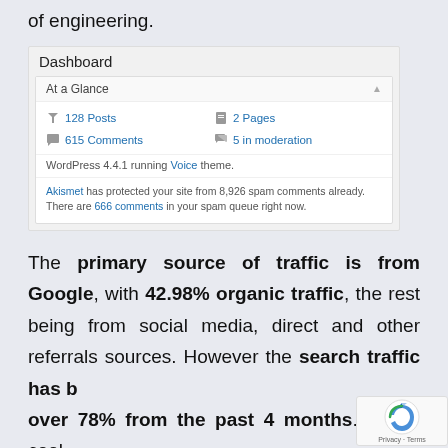of engineering.
[Figure (screenshot): WordPress Dashboard 'At a Glance' widget showing 128 Posts, 2 Pages, 615 Comments, 5 in moderation. WordPress 4.4.1 running Voice theme. Akismet has protected site from 8,926 spam comments. 666 comments in spam queue.]
The primary source of traffic is from Google, with 42.98% organic traffic, the rest being from social media, direct and other referrals sources. However the search traffic has b[een] over 78% from the past 4 months. Really cool